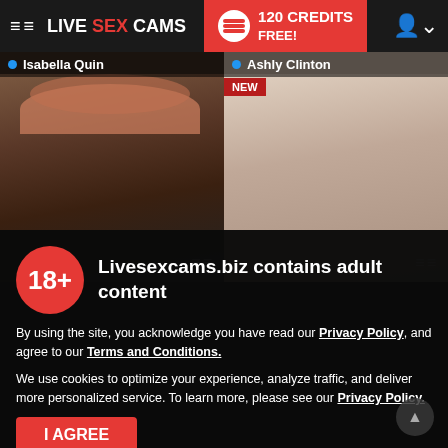≡≡ LIVE SEX CAMS | 120 CREDITS FREE!
● Isabella Quin
● Ashly Clinton
[Figure (photo): Webcam thumbnail of Isabella Quin — young woman wearing a pink bucket hat]
[Figure (photo): Webcam thumbnail of Ashly Clinton — young woman with short hair and a headband, NEW badge visible]
18+  Livesexcams.biz contains adult content
By using the site, you acknowledge you have read our Privacy Policy, and agree to our Terms and Conditions.
We use cookies to optimize your experience, analyze traffic, and deliver more personalized service. To learn more, please see our Privacy Policy.
I AGREE